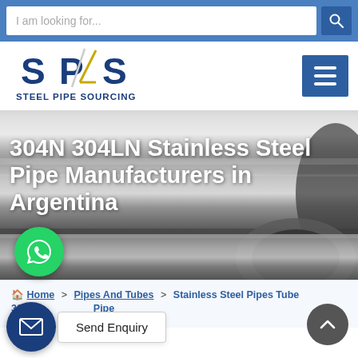[Figure (screenshot): Search bar with placeholder text 'I am looking for...' and a blue search button with magnifying glass icon]
[Figure (logo): Steel Pipe Sourcing (SPS) logo with text STEEL PIPE SOURCING below, and a hamburger menu button on the right]
[Figure (photo): Hero image of shiny stainless steel pipes, dark gray metallic background]
304N 304LN Stainless Steel Pipe Manufacturers in Argentina
[Figure (other): WhatsApp floating action button (green circle with WhatsApp icon)]
Home > Pipes And Tubes > Stainless Steel Pipes Tubes 304N 304LN Stainless Steel Pipe
[Figure (other): Send Enquiry button with mail icon and scroll-to-top button]